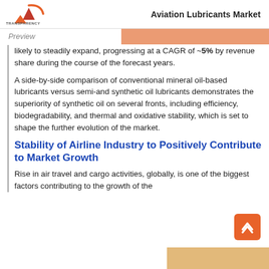Aviation Lubricants Market
likely to steadily expand, progressing at a CAGR of ~5% by revenue share during the course of the forecast years.
A side-by-side comparison of conventional mineral oil-based lubricants versus semi-and synthetic oil lubricants demonstrates the superiority of synthetic oil on several fronts, including efficiency, biodegradability, and thermal and oxidative stability, which is set to shape the further evolution of the market.
Stability of Airline Industry to Positively Contribute to Market Growth
Rise in air travel and cargo activities, globally, is one of the biggest factors contributing to the growth of the